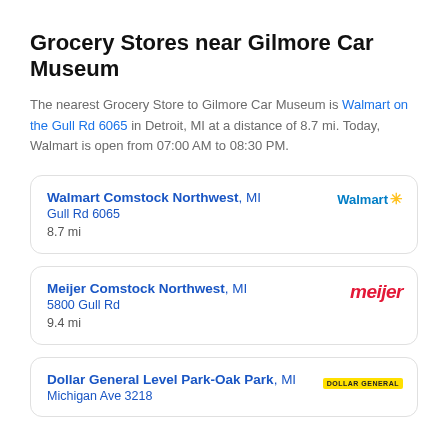Grocery Stores near Gilmore Car Museum
The nearest Grocery Store to Gilmore Car Museum is Walmart on the Gull Rd 6065 in Detroit, MI at a distance of 8.7 mi. Today, Walmart is open from 07:00 AM to 08:30 PM.
Walmart Comstock Northwest, MI
Gull Rd 6065
8.7 mi
Meijer Comstock Northwest, MI
5800 Gull Rd
9.4 mi
Dollar General Level Park-Oak Park, MI
Michigan Ave 3218